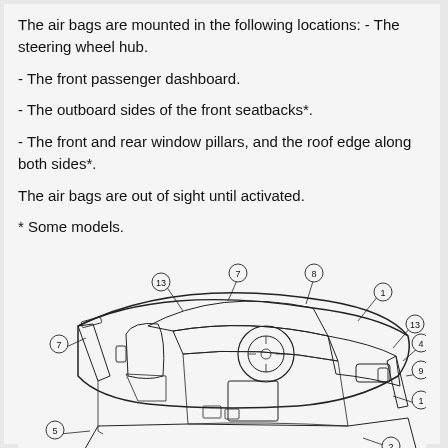The air bags are mounted in the following locations: - The steering wheel hub.
- The front passenger dashboard.
- The outboard sides of the front seatbacks*.
- The front and rear window pillars, and the roof edge along both sides*.
The air bags are out of sight until activated.
* Some models.
[Figure (engineering-diagram): Cutaway engineering diagram of a vehicle interior showing numbered air bag locations. Circled numbers label various positions on the steering wheel hub, dashboard, seat sides, window pillars, and roof edges. Numbers visible include 1, 2, 3, 4, 5, 6, 7, 8, 9, 10, 13 at various callout lines pointing to components.]